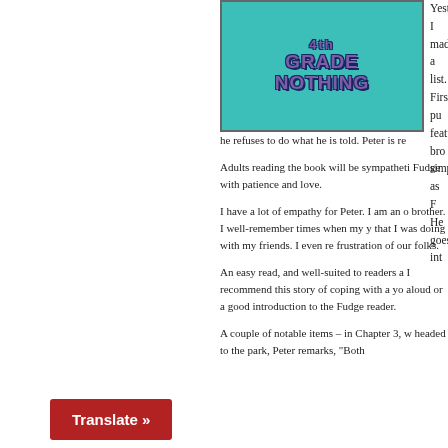[Figure (illustration): Book cover for 'Fudge-a-Mania' or similar Fudge series book showing teal/turquoise background with purple stylized text reading 'GRADE NOTHING']
Yesterday, I made a list. First pu features bro simply as F He goes int he refuses to do what he is told. Peter is re
Adults reading the book will be sympatheti Fudge with patience and love.
I have a lot of empathy for Peter. I am an o brother. I well-remember times when my y that I was doing with my friends. I even re frustration of our folks.
An easy read, and well-suited to readers a I recommend this story of coping with a yo aloud or a good introduction to the Fudge reader.
A couple of notable items – in Chapter 3, w headed to the park, Peter remarks, "Both
Translate »